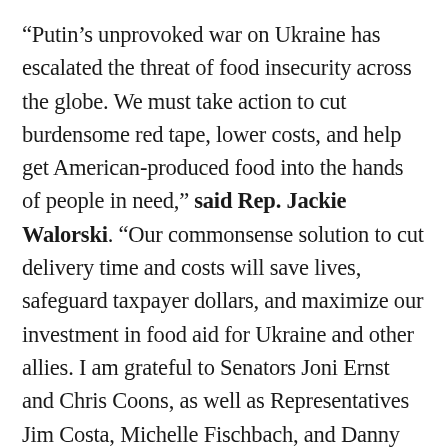“Putin’s unprovoked war on Ukraine has escalated the threat of food insecurity across the globe. We must take action to cut burdensome red tape, lower costs, and help get American-produced food into the hands of people in need,” said Rep. Jackie Walorski. “Our commonsense solution to cut delivery time and costs will save lives, safeguard taxpayer dollars, and maximize our investment in food aid for Ukraine and other allies. I am grateful to Senators Joni Ernst and Chris Coons, as well as Representatives Jim Costa, Michelle Fischbach, and Danny Davis for their partnership in this effort.”